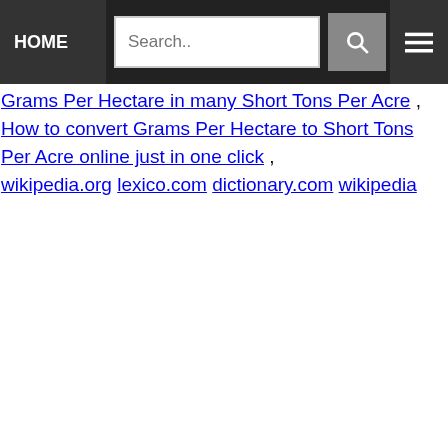HOME | Search.. [search button] [menu button]
Grams Per Hectare in many Short Tons Per Acre , How to convert Grams Per Hectare to Short Tons Per Acre online just in one click ,
wikipedia.org lexico.com dictionary.com wikipedia